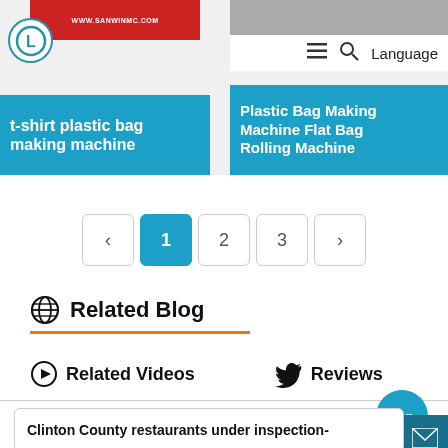[Figure (screenshot): Product card for t-shirt plastic bag making machine with red header bar showing www.sanwinmc.com, circular logo with L symbol, and blue caption bar]
[Figure (screenshot): Product card for Plastic Bag Making Machine Flat Bag Rolling Machine with gray image area, navigation bar with hamburger menu, search icon, Language text, and blue caption bar]
‹  1  2  3  ›
Related Blog
Related Videos
Reviews
Clinton County restaurants under inspection-